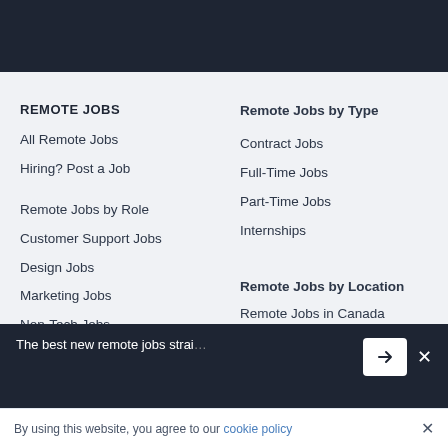REMOTE JOBS
All Remote Jobs
Hiring? Post a Job
Remote Jobs by Role
Customer Support Jobs
Design Jobs
Marketing Jobs
Non-Tech Jobs
Remote Jobs by Type
Contract Jobs
Full-Time Jobs
Part-Time Jobs
Internships
Remote Jobs by Location
Remote Jobs in Canada
Remote Jobs in Europe
The best new remote jobs straight to your inbox
By using this website, you agree to our cookie policy